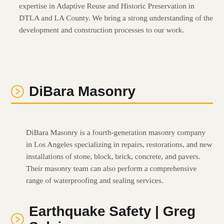expertise in Adaptive Reuse and Historic Preservation in DTLA and LA County. We bring a strong understanding of the development and construction processes to our work.
DiBara Masonry
DiBara Masonry is a fourth-generation masonry company in Los Angeles specializing in repairs, restorations, and new installations of stone, block, brick, concrete, and pavers. Their masonry team can also perform a comprehensive range of waterproofing and sealing services.
Earthquake Safety | Greg Sylvis